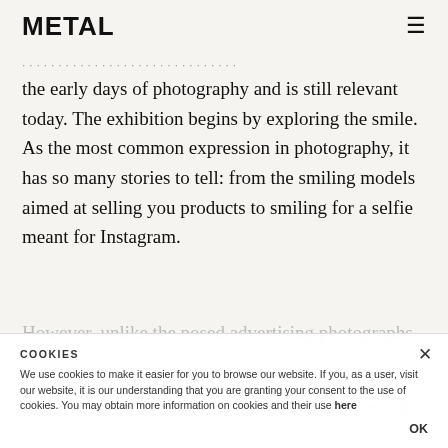METAL
the early days of photography and is still relevant today. The exhibition begins by exploring the smile. As the most common expression in photography, it has so many stories to tell: from the smiling models aimed at selling you products to smiling for a selfie meant for Instagram.
However, unlike the posed advertising photographs, [obscured text] can easily be interpreted as a smirk or a scream. When going further into the exhibition, visitors will
COOKIES
We use cookies to make it easier for you to browse our website. If you, as a user, visit our website, it is our understanding that you are granting your consent to the use of cookies. You may obtain more information on cookies and their use here
OK